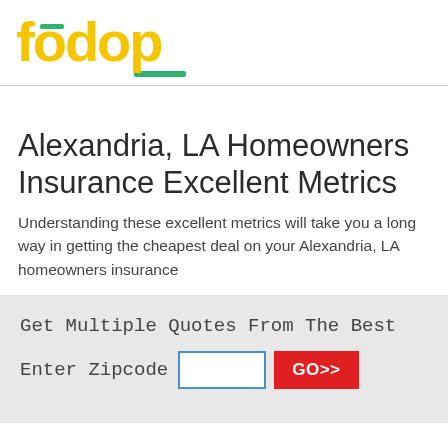[Figure (logo): Fodop logo in yellow bold text with green accent bar over the first 'o' and a green underline beneath the logo]
Alexandria, LA Homeowners Insurance Excellent Metrics
Understanding these excellent metrics will take you a long way in getting the cheapest deal on your Alexandria, LA homeowners insurance
Get Multiple Quotes From The Best
Enter Zipcode  [input field]  GO>>